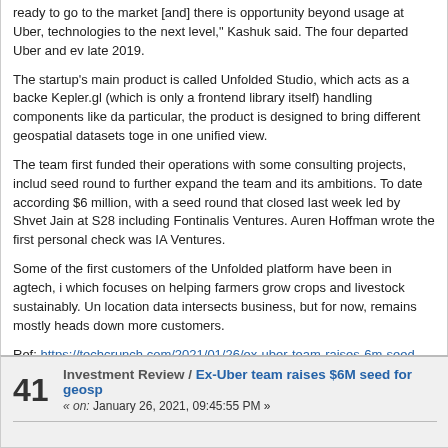ready to go to the market [and] there is opportunity beyond usage at Uber, technologies to the next level," Kashuk said. The four departed Uber and even late 2019.
The startup's main product is called Unfolded Studio, which acts as a backe Kepler.gl (which is only a frontend library itself) handling components like da particular, the product is designed to bring different geospatial datasets toge in one unified view.
The team first funded their operations with some consulting projects, includ seed round to further expand the team and its ambitions. To date according $6 million, with a seed round that closed last week led by Shvet Jain at S28 including Fontinalis Ventures. Auren Hoffman wrote the first personal check was IA Ventures.
Some of the first customers of the Unfolded platform have been in agtech, i which focuses on helping farmers grow crops and livestock sustainably. Un location data intersects business, but for now, remains mostly heads down more customers.
Ref: https://techcrunch.com/2021/01/26/ex-uber-team-raises-6m-seed-for-g
41  Investment Review / Ex-Uber team raises $6M seed for geosp
« on: January 26, 2021, 09:45:55 PM »